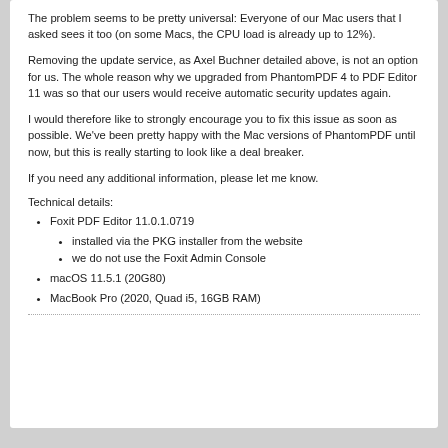The problem seems to be pretty universal: Everyone of our Mac users that I asked sees it too (on some Macs, the CPU load is already up to 12%).
Removing the update service, as Axel Buchner detailed above, is not an option for us. The whole reason why we upgraded from PhantomPDF 4 to PDF Editor 11 was so that our users would receive automatic security updates again.
I would therefore like to strongly encourage you to fix this issue as soon as possible. We've been pretty happy with the Mac versions of PhantomPDF until now, but this is really starting to look like a deal breaker.
If you need any additional information, please let me know.
Technical details:
Foxit PDF Editor 11.0.1.0719
installed via the PKG installer from the website
we do not use the Foxit Admin Console
macOS 11.5.1 (20G80)
MacBook Pro (2020, Quad i5, 16GB RAM)